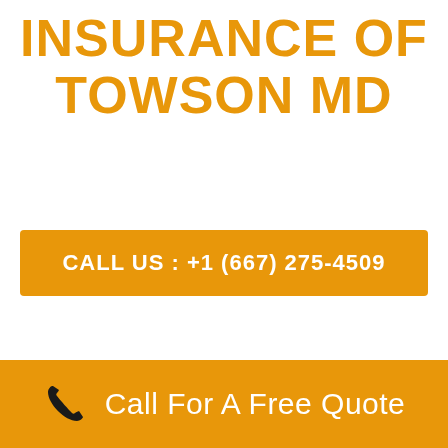INSURANCE OF TOWSON MD
CALL US : +1 (667) 275-4509
Call For A Free Quote